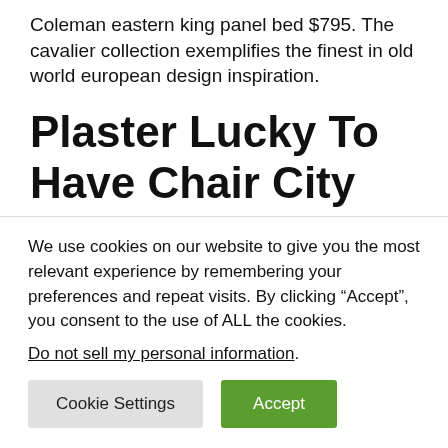Coleman eastern king panel bed $795. The cavalier collection exemplifies the finest in old world european design inspiration.
Plaster Lucky To Have Chair City Blue Board From.
This business is listed for houston furniture
We use cookies on our website to give you the most relevant experience by remembering your preferences and repeat visits. By clicking “Accept”, you consent to the use of ALL the cookies.
Do not sell my personal information.